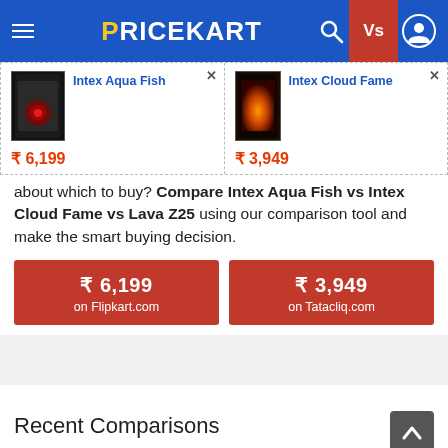PRICEKART
[Figure (screenshot): Product comparison bar showing Intex Aqua Fish (₹6,199) and Intex Cloud Fame (₹3,949) with product images]
about which to buy? Compare Intex Aqua Fish vs Intex Cloud Fame vs Lava Z25 using our comparison tool and make the smart buying decision.
₹ 6,199 on Flipkart.com
₹ 3,949 on Tatacliq.com
Recent Comparisons